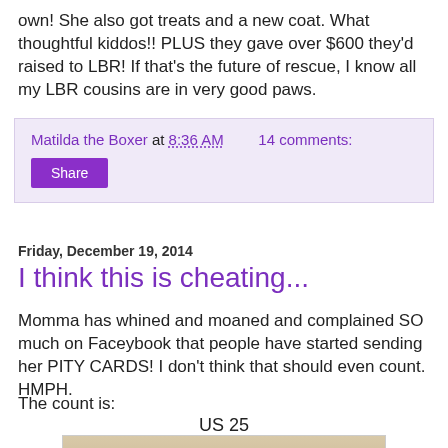own! She also got treats and a new coat. What thoughtful kiddos!! PLUS they gave over $600 they'd raised to LBR! If that's the future of rescue, I know all my LBR cousins are in very good paws.
Matilda the Boxer at 8:36 AM    14 comments:
Share
Friday, December 19, 2014
I think this is cheating...
Momma has whined and moaned and complained SO much on Faceybook that people have started sending her PITY CARDS! I don't think that should even count. HMPH.
The count is:
US 25
[Figure (photo): Photo of greeting cards arranged in a display]